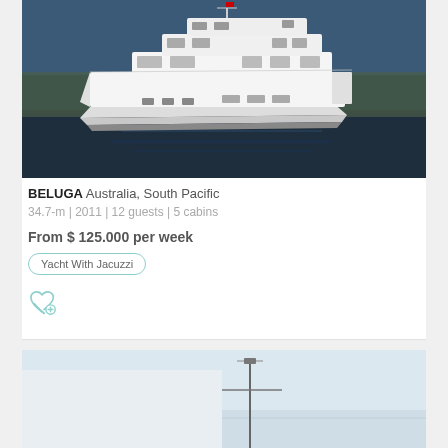[Figure (photo): Aerial photo of a large white motor yacht named BELUGA on dark blue water]
BELUGA Australia, South Pacific
34.7-m | 2011 | 12 guests | 5 cabins
From $ 125.000 per week
Yacht With Jacuzzi
[Figure (photo): Partial photo of a sailing vessel on calm pale water, mast visible at bottom of image]